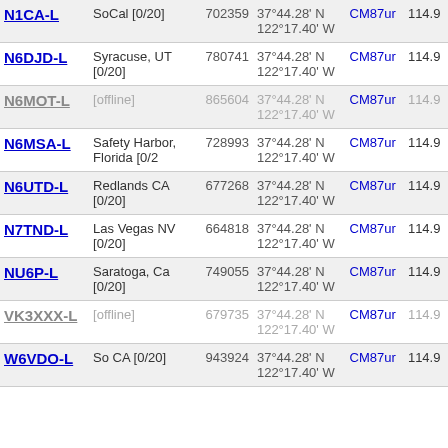| Callsign | Location | Node ID | Coordinates | Grid | Freq |
| --- | --- | --- | --- | --- | --- |
| N1CA-L | SoCal [0/20] | 702359 | 37°44.28' N 122°17.40' W | CM87ur | 114.9 |
| N6DJD-L | Syracuse, UT [0/20] | 780741 | 37°44.28' N 122°17.40' W | CM87ur | 114.9 |
| N6MOT-L [offline] | [offline] | 865604 | 37°44.28' N 122°17.40' W | CM87ur | 114.9 |
| N6MSA-L | Safety Harbor, Florida [0/2 | 728993 | 37°44.28' N 122°17.40' W | CM87ur | 114.9 |
| N6UTD-L | Redlands CA [0/20] | 677268 | 37°44.28' N 122°17.40' W | CM87ur | 114.9 |
| N7TND-L | Las Vegas NV [0/20] | 664818 | 37°44.28' N 122°17.40' W | CM87ur | 114.9 |
| NU6P-L | Saratoga, Ca [0/20] | 749055 | 37°44.28' N 122°17.40' W | CM87ur | 114.9 |
| VK3XXX-L [offline] | [offline] | 679735 | 37°44.28' N 122°17.40' W | CM87ur | 114.9 |
| W6VDO-L | So CA [0/20] | 943924 | 37°44.28' N 122°17.40' W | CM87ur | 114.9 |